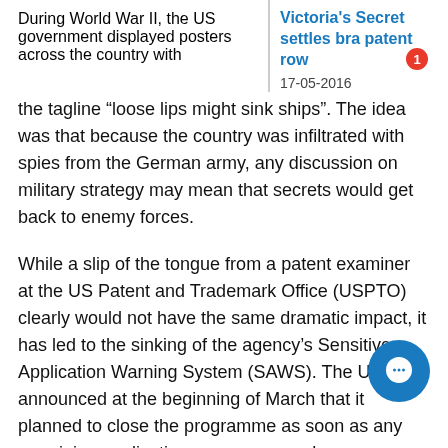During World War II, the US government displayed posters across the country with the tagline “loose lips might sink ships”. The idea was that because the country was infiltrated with spies from the German army, any discussion on military strategy may mean that secrets would get back to enemy forces.
Victoria's Secret settles bra patent row
17-05-2016
While a slip of the tongue from a patent examiner at the US Patent and Trademark Office (USPTO) clearly would not have the same dramatic impact, it has led to the sinking of the agency’s Sensitive Application Warning System (SAWS). The USPTO announced at the beginning of March that it planned to close the programme as soon as any remaining applications are processed.
Set up in 1994, the programme was designed to bring an additional assurance quality check” to “sensitive” patent applications. Between three and nine examiners assessed SAWS-designated applications,